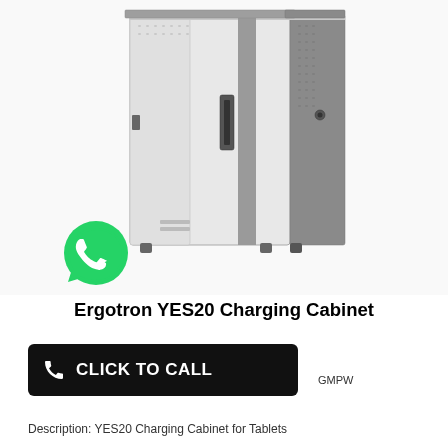[Figure (photo): Ergotron YES20 Charging Cabinet, a tall metal cabinet with white perforated doors and gray frame, shown in three-quarter view. A WhatsApp green phone icon is overlaid on the lower left of the image.]
Ergotron YES20 Charging Cabinet
[Figure (other): Black 'CLICK TO CALL' button with white phone icon and text]
GMPW
Description: YES20 Charging Cabinet for Tablets